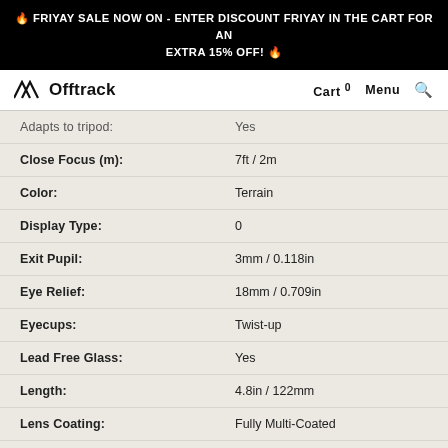🔥 FRIYAY SALE NOW ON - ENTER DISCOUNT FRIYAY IN THE CART FOR AN EXTRA 15% OFF! 🔥
Offtrack — Cart 0  Menu  🔍
| Attribute | Value |
| --- | --- |
| Adapts to tripod: | Yes |
| Close Focus (m): | 7ft / 2m |
| Color: | Terrain |
| Display Type: | 0 |
| Exit Pupil: | 3mm / 0.118in |
| Eye Relief: | 18mm / 0.709in |
| Eyecups: | Twist-up |
| Lead Free Glass: | Yes |
| Length: | 4.8in / 122mm |
| Lens Coating: | Fully Multi-Coated |
| Magnification x Objective Lens: | 10x42mm |
| PC-3 Phase Coating: | Yes, PC3 Phase Coating |
| Prism Glass: | BaK-4 |